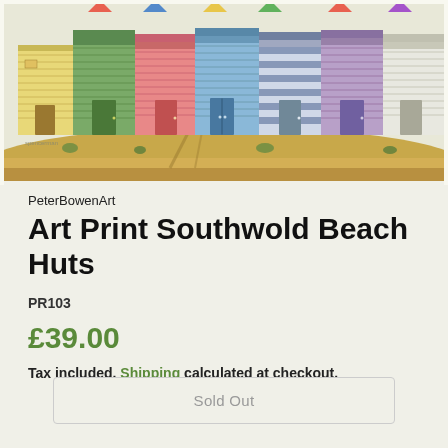[Figure (illustration): Watercolor illustration of colorful beach huts at Southwold, showing multiple huts in various colors (yellow, green, pink, blue, purple, white) with sandy ground in the foreground]
PeterBowenArt
Art Print Southwold Beach Huts
PR103
£39.00
Tax included. Shipping calculated at checkout.
Sold Out